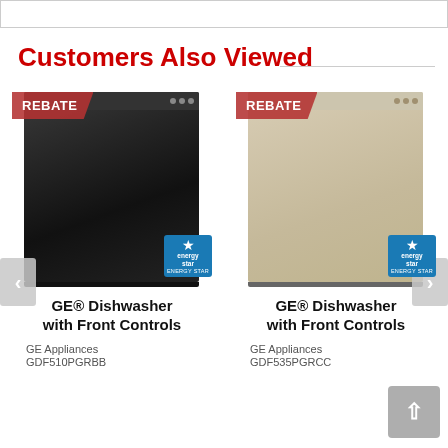Customers Also Viewed
[Figure (photo): Black GE dishwasher with front controls, showing REBATE badge and Energy Star logo]
GE® Dishwasher with Front Controls
GE Appliances
GDF510PGRBB
[Figure (photo): Beige/bisque GE dishwasher with front controls, showing REBATE badge and Energy Star logo]
GE® Dishwasher with Front Controls
GE Appliances
GDF535PGRCC